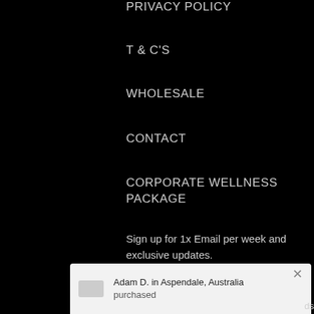PRIVACY POLICY
T & C'S
WHOLESALE
CONTACT
CORPORATE WELLNESS PACKAGE
Sign up for 1x Email per week and exclusive updates.
[Figure (screenshot): Email address input field with white background and placeholder text 'Enter your email address...']
[Figure (screenshot): Popup notification bar showing 'Adam D. in Aspendale, Australia purchased' with a grey card icon and X close button]